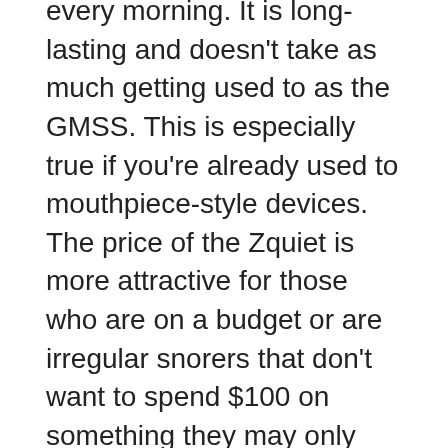every morning. It is long-lasting and doesn't take as much getting used to as the GMSS. This is especially true if you're already used to mouthpiece-style devices. The price of the Zquiet is more attractive for those who are on a budget or are irregular snorers that don't want to spend $100 on something they may only use a few times a week.
The GMSS is different in that it focuses on tongue displacement, but the fact that it does feel more comfortable to most and prevents the chances of a sore jaw can't be ignored. Those with already present jaw alignment issues or jaw pain should look to this device for help over the Zquiet. Those who just find that is applies pressure to their...